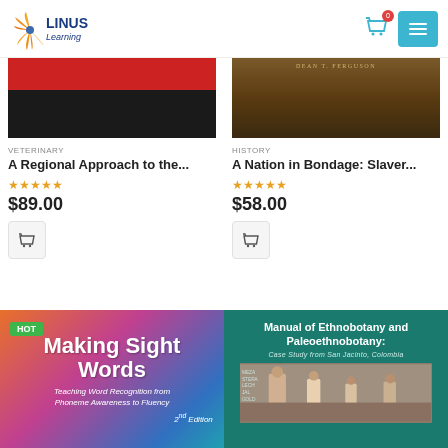[Figure (logo): Linus Learning logo with orange fan/wheat icon]
[Figure (photo): Red and black striped book cover for Veterinary title]
VETERINARY
A Regional Approach to the...
★★★★★
$89.00
[Figure (photo): Brown textured book cover with author Dean T. Ferguson for History title]
HISTORY
A Nation in Bondage: Slaver...
★★★★★
$58.00
[Figure (photo): Making Sight Words book cover - colorful gradient with title text, HOT badge, subtitle Teaching Word Recognition from Phoneme Awareness to Fluency, 2nd Edition]
[Figure (photo): Manual of Ethnobotany and Paleoethnobotany: Case Study from San Jacinto, Colombia book cover - teal background with photo of people]